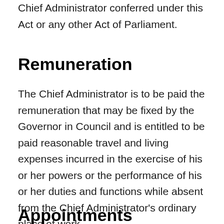Chief Administrator conferred under this Act or any other Act of Parliament.
Remuneration
The Chief Administrator is to be paid the remuneration that may be fixed by the Governor in Council and is entitled to be paid reasonable travel and living expenses incurred in the exercise of his or her powers or the performance of his or her duties and functions while absent from the Chief Administrator's ordinary place of work.
Appointments